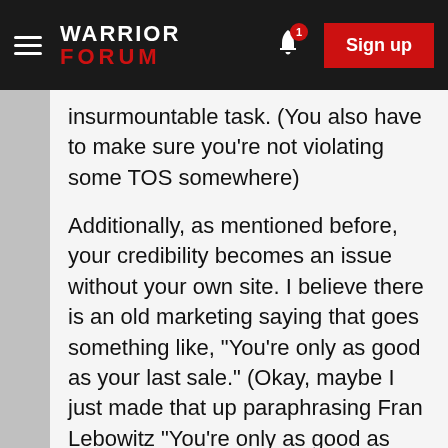WARRIOR FORUM — Sign up
insurmountable task. (You also have to make sure you're not violating some TOS somewhere)
Additionally, as mentioned before, your credibility becomes an issue without your own site. I believe there is an old marketing saying that goes something like, "You're only as good as your last sale." (Okay, maybe I just made that up paraphrasing Fran Lebowitz "You're only as good as your last haircut", but the intent is to illustrate the importance of credibility; especially